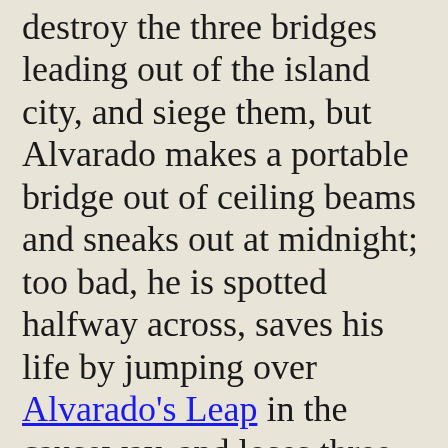destroy the three bridges leading out of the island city, and siege them, but Alvarado makes a portable bridge out of ceiling beams and sneaks out at midnight; too bad, he is spotted halfway across, saves his life by jumping over Alvarado's Leap in the causeway, and loses three-fourths (800) of his men killed or captured (later used for sacrifices to the war god) before escaping and regrouping with Cortes under a huge ceiba (silk-cotton) (kapok) tree in what becomes known as La Noche Triste (the Sad Night), in which Cortes sits under the tree and weeps; after making sure his shipbuilder Martin Lopez is still with him, he says, "Okay, let's go, for we lack nothing", and they head back to their race